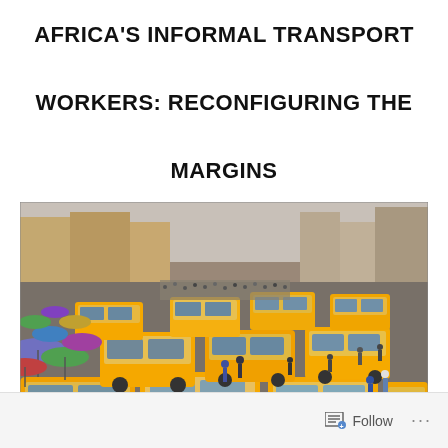AFRICA'S INFORMAL TRANSPORT WORKERS: RECONFIGURING THE MARGINS
[Figure (photo): Aerial view of a congested African city street filled with yellow minibus taxis and buses, with crowds of people and colorful umbrellas visible among the traffic. Buildings line the background.]
Follow ...